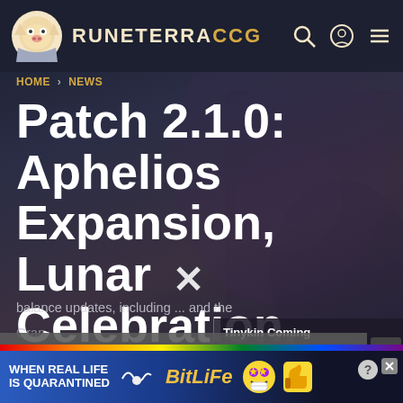RUNETERRACCG
HOME > NEWS
Patch 2.1.0: Aphelios Expansion, Lunar Celebration, Balance Changes, and More!
[Figure (screenshot): Background fantasy game scene with dark purplish tones]
Tinykin Coming August 30 - Xbox
The media could not be loaded, either because the server or network failed or because the format is not supported.
balance updates, including...and the
Gran
[Figure (illustration): BitLife advertisement banner: WHEN REAL LIFE IS QUARANTINED - BitLife game ad with colorful rainbow bar at top, emoji characters]